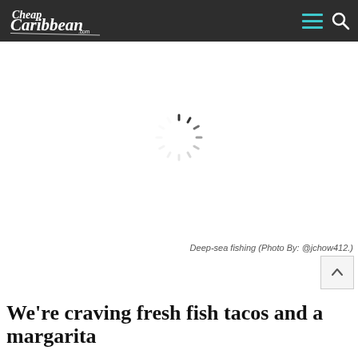CheapCaribbean.com navigation bar
[Figure (other): Loading spinner (circular activity indicator with radiating dashes) centered in a large white image area representing a loading deep-sea fishing photo]
Deep-sea fishing (Photo By: @jchow412.)
We're craving fresh fish tacos and a margarita